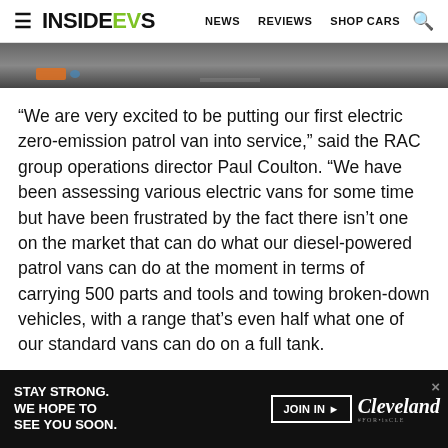InsideEVs — NEWS   REVIEWS   SHOP CARS
[Figure (photo): Partial view of image strip, appears to show equipment on a dark floor]
“We are very excited to be putting our first electric zero-emission patrol van into service,” said the RAC group operations director Paul Coulton. “We have been assessing various electric vans for some time but have been frustrated by the fact there isn’t one on the market that can do what our diesel-powered patrol vans can do at the moment in terms of carrying 500 parts and tools and towing broken-down vehicles, with a range that’s even half what one of our standard vans can do on a full tank.
“While we continue to talk to manufacturers about our require... tric
[Figure (other): Advertisement banner: STAY STRONG. WE HOPE TO SEE YOU SOON. JOIN IN ► Cleveland logo]